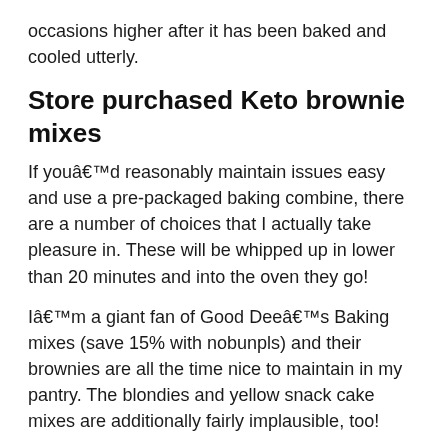occasions higher after it has been baked and cooled utterly.
Store purchased Keto brownie mixes
If youâ€™d reasonably maintain issues easy and use a pre-packaged baking combine, there are a number of choices that I actually take pleasure in. These will be whipped up in lower than 20 minutes and into the oven they go!
Iâ€™m a giant fan of Good Deeâ€™s Baking mixes (save 15% with nobunpls) and their brownies are all the time nice to maintain in my pantry. The blondies and yellow snack cake mixes are additionally fairly implausible, too!
Iâ€™ve additionally had brownie mixes from Pyure and Kawaii Treats and Eats and totally loved them as nicely.